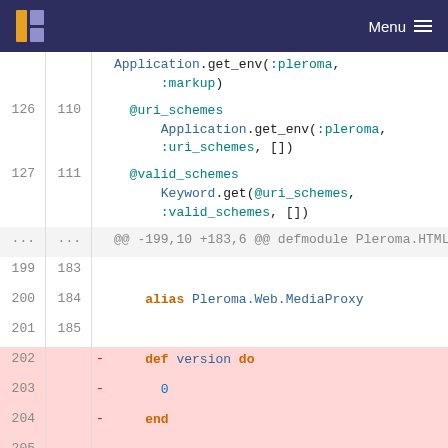Menu
Code diff view showing Elixir source code changes in Pleroma.HTML.Transform.MediaProxy module. Lines 126-127 (old 110-111) show @uri_schemes and @valid_schemes. Lines 199-208 (old 183-188) show alias and def statements. Lines 202-205 are deleted (def version do / 0 / end).